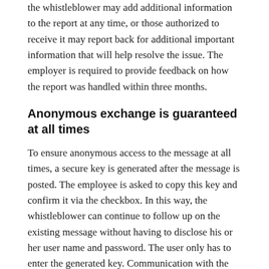the whistleblower may add additional information to the report at any time, or those authorized to receive it may report back for additional important information that will help resolve the issue. The employer is required to provide feedback on how the report was handled within three months.
Anonymous exchange is guaranteed at all times
To ensure anonymous access to the message at all times, a secure key is generated after the message is posted. The employee is asked to copy this key and confirm it via the checkbox. In this way, the whistleblower can continue to follow up on the existing message without having to disclose his or her user name and password. The user only has to enter the generated key. Communication with the whistleblower is easily controlled via the comment function of the ticket. The whistleblower's responses also go back to this field as comments and the authorized persons receive a notification.